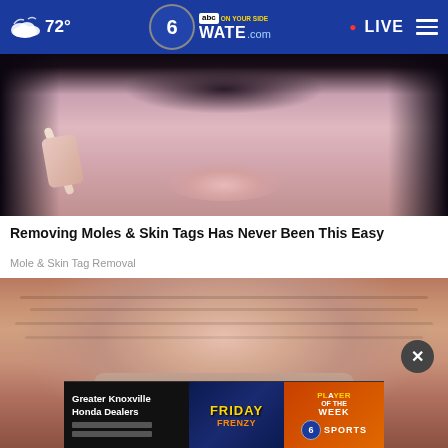72° WATE.com • LIVE
[Figure (photo): Close-up photo of a woman's lower face with glasses and dark hair, holding a white object near her cheek, skin care context]
Removing Moles & Skin Tags Has Never Been This Easy
Mole & Skin Tag Removal
[Figure (photo): Close-up macro photo of wrinkled skin showing skin tags or moles with a close x button overlay, and an ad banner for Greater Knoxville Honda Dealers / Friday Frenzy Player of the Week 6 ABC Sports]